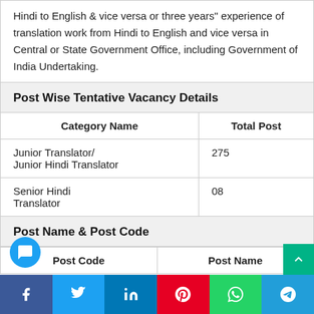Hindi to English & vice versa or three years" experience of translation work from Hindi to English and vice versa in Central or State Government Office, including Government of India Undertaking.
Post Wise Tentative Vacancy Details
| Category Name | Total Post |
| --- | --- |
| Junior Translator/ Junior Hindi Translator | 275 |
| Senior Hindi Translator | 08 |
Post Name & Post Code
| Post Code | Post Name |
| --- | --- |